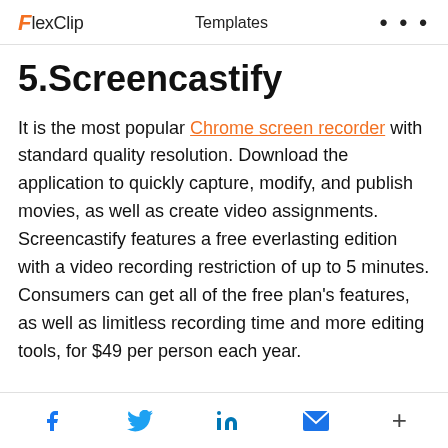FlexClip   Templates   ...
5.Screencastify
It is the most popular Chrome screen recorder with standard quality resolution. Download the application to quickly capture, modify, and publish movies, as well as create video assignments. Screencastify features a free everlasting edition with a video recording restriction of up to 5 minutes. Consumers can get all of the free plan's features, as well as limitless recording time and more editing tools, for $49 per person each year.
Social share icons: Facebook, Twitter, LinkedIn, Email, More